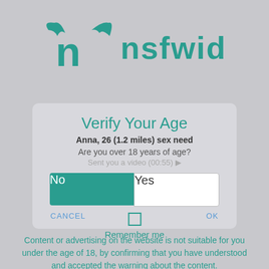[Figure (logo): nsfwid logo with bat-wing letter n icon in teal/green color, followed by text 'nsfwid' in teal]
Verify Your Age
Anna, 26 (1.2 miles) sex need
Are you over 18 years of age?
Sent you a video (00:55) ▶
No
Yes
CANCEL
OK
Remember me
Content or advertising on the website is not suitable for you under the age of 18, by confirming that you have understood and accepted the warning about the content.